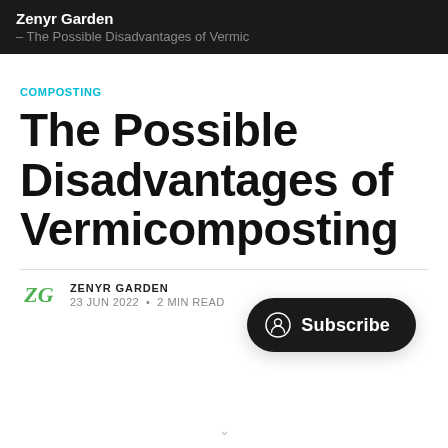Zenyr Garden – The Possible Disadvantages of Vermicomposting
COMPOSTING
The Possible Disadvantages of Vermicomposting
ZENYR GARDEN
23 JUN 2022 · 2 MIN READ